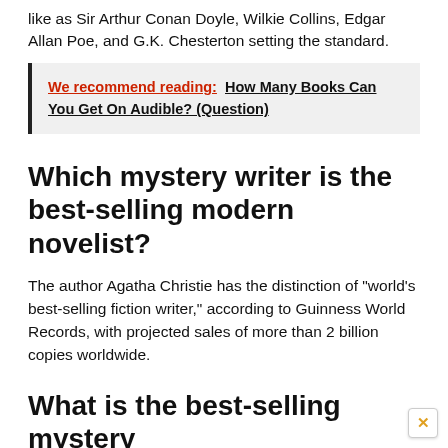like as Sir Arthur Conan Doyle, Wilkie Collins, Edgar Allan Poe, and G.K. Chesterton setting the standard.
We recommend reading:  How Many Books Can You Get On Audible? (Question)
Which mystery writer is the best-selling modern novelist?
The author Agatha Christie has the distinction of “world’s best-selling fiction writer,” according to Guinness World Records, with projected sales of more than 2 billion copies worldwide.
What is the best-selling mystery